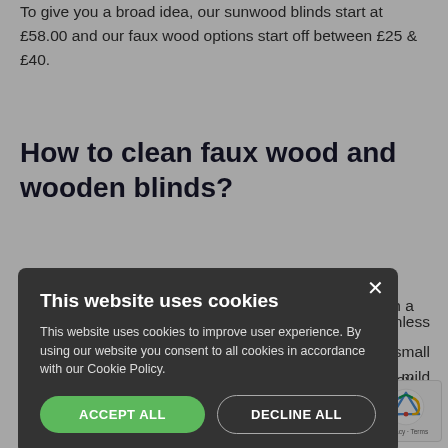To give you a broad idea, our sunwood blinds start at £58.00 and our faux wood options start off between £25 & £40.
How to clean faux wood and wooden blinds?
Each will require a different cleaning approach; with wooden blinds you can get away with dusting them with a dry cloth or microfibre mitt if ... unless ... a small ... mild ... y them
... omes to cleaning and can be rinsed with water when needed. Day to day maintenance is the same...
This website uses cookies
This website uses cookies to improve user experience. By using our website you consent to all cookies in accordance with our Cookie Policy.